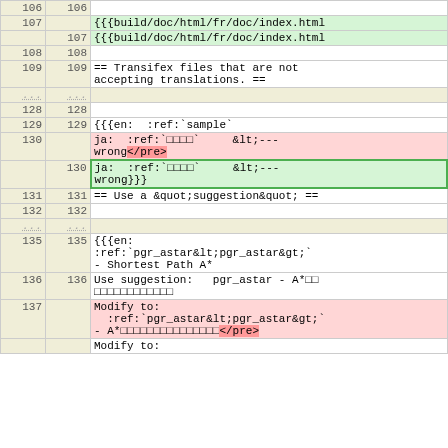| line_old | line_new | content |
| --- | --- | --- |
| 106 | 106 |  |
| 107 |  | {{build/doc/html/fr/doc/index.html (green highlighted) |
|  | 107 | {{build/doc/html/fr/doc/index.html (green highlighted) |
| 108 | 108 |  |
| 109 | 109 | == Transifex files that are not
accepting translations. == |
| ... | ... |  |
| 128 | 128 |  |
| 129 | 129 | {{{en:  :ref:`sample` |
| 130 |  | ja:  :ref:`□□□□`     &lt;---
wrong</pre> (red highlighted) |
|  | 130 | ja:  :ref:`□□□□`     &lt;---
wrong}}} (green highlighted) |
| 131 | 131 | == Use a &quot;suggestion&quot; == |
| 132 | 132 |  |
| ... | ... |  |
| 135 | 135 | {{{en:
:ref:`pgr_astar&lt;pgr_astar&gt;`
- Shortest Path A* |
| 136 | 136 | Use suggestion:   pgr_astar - A*□□
□□□□□□□□□□□□□□ |
| 137 |  | Modify to:
  :ref:`pgr_astar&lt;pgr_astar&gt;`
- A*□□□□□□□□□□□□□□□</pre> (red) |
|  |  | Modify to: (continues) |